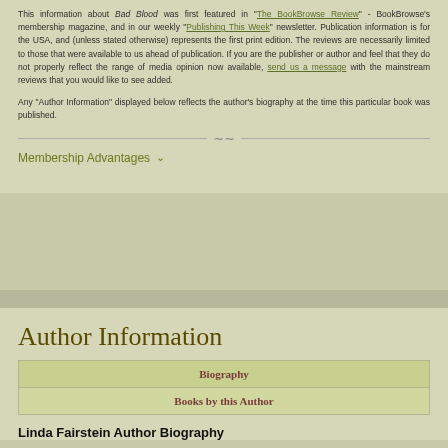This information about Bad Blood was first featured in "The BookBrowse Review" - BookBrowse's membership magazine, and in our weekly "Publishing This Week" newsletter. Publication information is for the USA, and (unless stated otherwise) represents the first print edition. The reviews are necessarily limited to those that were available to us ahead of publication. If you are the publisher or author and feel that they do not properly reflect the range of media opinion now available, send us a message with the mainstream reviews that you would like to see added.
Any "Author Information" displayed below reflects the author's biography at the time this particular book was published.
Membership Advantages
Author Information
| Biography | Books by this Author |
| --- | --- |
Linda Fairstein Author Biography